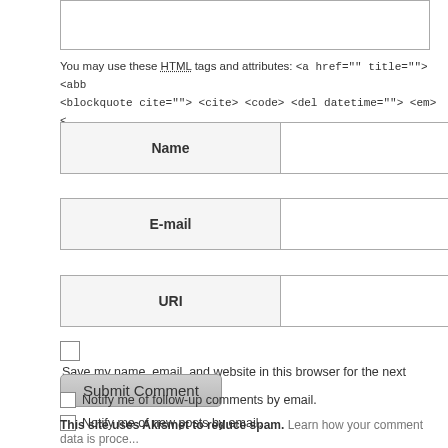You may use these HTML tags and attributes: <a href="" title=""> <abb <blockquote cite=""> <cite> <code> <del datetime=""> <em> <
Name (required)
E-mail (required)
URI
Save my name, email, and website in this browser for the next time I comment.
Notify me of follow-up comments by email.
Notify me of new posts by email.
Submit Comment
This site uses Akismet to reduce spam. Learn how your comment data is proce...